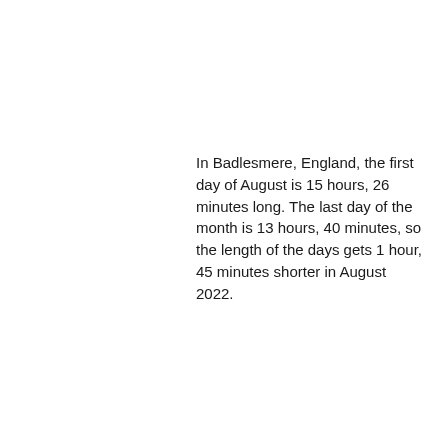In Badlesmere, England, the first day of August is 15 hours, 26 minutes long. The last day of the month is 13 hours, 40 minutes, so the length of the days gets 1 hour, 45 minutes shorter in August 2022.